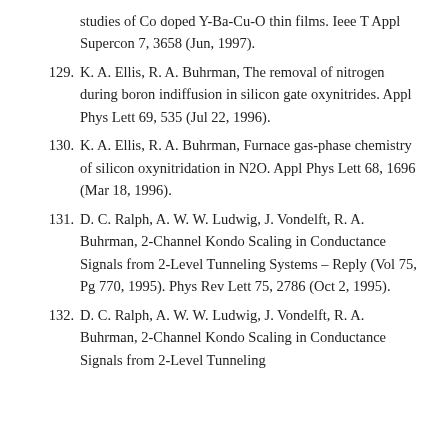studies of Co doped Y-Ba-Cu-O thin films. Ieee T Appl Supercon 7, 3658 (Jun, 1997).
129. K. A. Ellis, R. A. Buhrman, The removal of nitrogen during boron indiffusion in silicon gate oxynitrides. Appl Phys Lett 69, 535 (Jul 22, 1996).
130. K. A. Ellis, R. A. Buhrman, Furnace gas-phase chemistry of silicon oxynitridation in N2O. Appl Phys Lett 68, 1696 (Mar 18, 1996).
131. D. C. Ralph, A. W. W. Ludwig, J. Vondelft, R. A. Buhrman, 2-Channel Kondo Scaling in Conductance Signals from 2-Level Tunneling Systems – Reply (Vol 75, Pg 770, 1995). Phys Rev Lett 75, 2786 (Oct 2, 1995).
132. D. C. Ralph, A. W. W. Ludwig, J. Vondelft, R. A. Buhrman, 2-Channel Kondo Scaling in Conductance Signals from 2-Level Tunneling